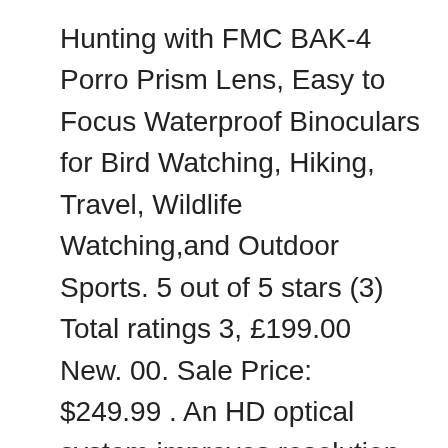Hunting with FMC BAK-4 Porro Prism Lens, Easy to Focus Waterproof Binoculars for Bird Watching, Hiking, Travel, Wildlife Watching,and Outdoor Sports. 5 out of 5 stars (3) Total ratings 3, £199.00 New. 00. Sale Price: $249.99 . An HD optical system improves resolution, and multiple anti-reflective coatings on all air-to-glass surfaces and multi-layer prism coatings enhance light transmission. We wouldn't have had the success we did without good optics these provided. This was my first time hunting where a lot of moving, observing, locating, moving and observing some more to get a shot due to the vast open country and draws was involved. The Diamondback HD is a great